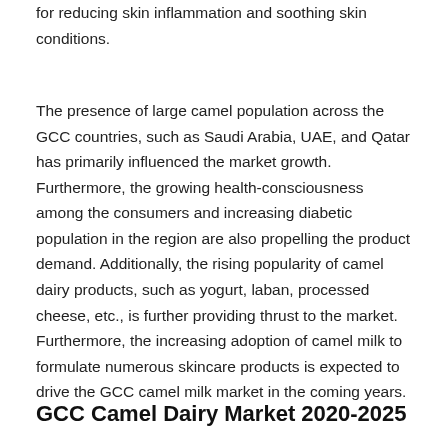for reducing skin inflammation and soothing skin conditions.
The presence of large camel population across the GCC countries, such as Saudi Arabia, UAE, and Qatar has primarily influenced the market growth. Furthermore, the growing health-consciousness among the consumers and increasing diabetic population in the region are also propelling the product demand. Additionally, the rising popularity of camel dairy products, such as yogurt, laban, processed cheese, etc., is further providing thrust to the market. Furthermore, the increasing adoption of camel milk to formulate numerous skincare products is expected to drive the GCC camel milk market in the coming years.
GCC Camel Dairy Market 2020-2025